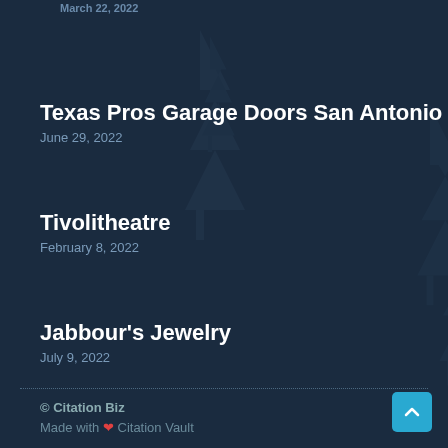March 22, 2022
Texas Pros Garage Doors San Antonio
June 29, 2022
Tivolitheatre
February 8, 2022
Jabbour's Jewelry
July 9, 2022
© Citation Biz
Made with ❤ Citation Vault